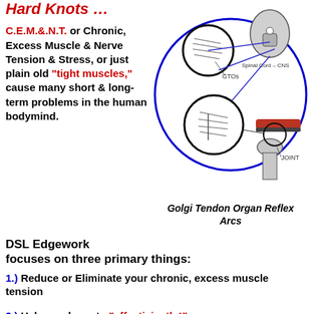Hard Knots …
C.E.M.&.N.T. or Chronic, Excess Muscle & Nerve Tension & Stress, or just plain old "tight muscles," cause many short & long-term problems in the human bodymind.
[Figure (illustration): Diagram of Golgi Tendon Organ Reflex Arcs showing GTOs, Spinal Cord – CNS, and JOINT within a circular illustration]
Golgi Tendon Organ Reflex Arcs
DSL Edgework focuses on three primary things:
1.) Reduce or Eliminate your chronic, excess muscle tension
2.) Help you learn to "effecticiently*" manage appropriate levels of tension & stress in your bodymind